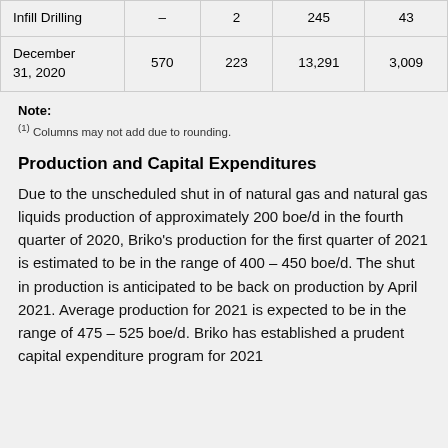| Infill Drilling | – | 2 | 245 | 43 |
| December 31, 2020 | 570 | 223 | 13,291 | 3,009 |
Note:
(1) Columns may not add due to rounding.
Production and Capital Expenditures
Due to the unscheduled shut in of natural gas and natural gas liquids production of approximately 200 boe/d in the fourth quarter of 2020, Briko's production for the first quarter of 2021 is estimated to be in the range of 400 – 450 boe/d. The shut in production is anticipated to be back on production by April 2021. Average production for 2021 is expected to be in the range of 475 – 525 boe/d. Briko has established a prudent capital expenditure program for 2021